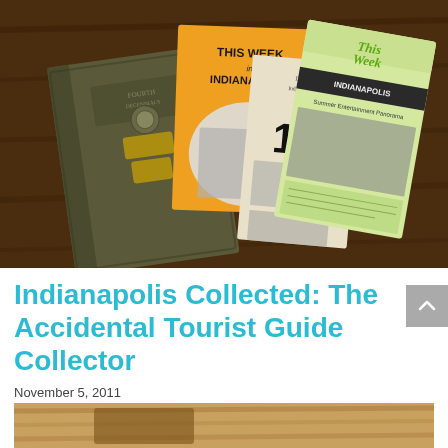[Figure (photo): Vintage Indianapolis tourism booklets and guides on a dark wooden table. Items include 'This Week in Indianapolis' with orange cover, 'This Week Indianapolis' with green cover showing Summer Entertainment Panorama, and an old worn hardcover book.]
Indianapolis Collected: The Accidental Tourist Guide Collector
November 5, 2011
[Figure (photo): Partial view of a wooden surface or object, cropped at the bottom of the page.]